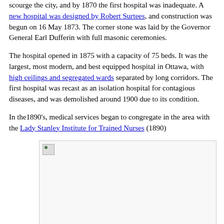scourge the city, and by 1870 the first hospital was inadequate. A new hospital was designed by Robert Surtees, and construction was begun on 16 May 1873. The corner stone was laid by the Governor General Earl Dufferin with full masonic ceremonies.
The hospital opened in 1875 with a capacity of 75 beds. It was the largest, most modern, and best equipped hospital in Ottawa, with high ceilings and segregated wards separated by long corridors. The first hospital was recast as an isolation hospital for contagious diseases, and was demolished around 1900 due to its condition.
In the1890's, medical services began to congregate in the area with the Lady Stanley Institute for Trained Nurses (1890)
[Figure (photo): A placeholder image (broken/loading image icon) within a bordered rectangle, representing a photograph related to the historical content about Ottawa hospitals.]